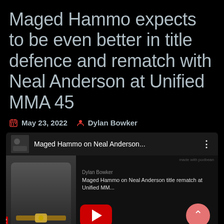Maged Hammo expects to be even better in title defence and rematch with Neal Anderson at Unified MMA 45
May 23, 2022   Dylan Bowker
[Figure (screenshot): Embedded podcast/YouTube player showing 'Maged Hammo on Neal Anderson...' with a photo of a fighter holding a championship belt on the left, podcast player controls including a YouTube play button in red, waveform audio visualizer, and a scroll-up button. Caption reads: 'Maged Hammo on Neal Anderson title rematch at Unified MM...' by Dylan Bowker.]